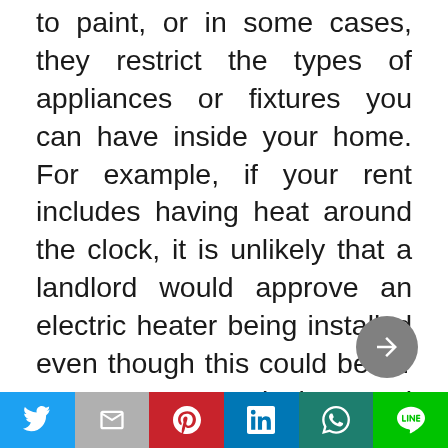to paint, or in some cases, they restrict the types of appliances or fixtures you can have inside your home. For example, if your rent includes having heat around the clock, it is unlikely that a landlord would approve an electric heater being installed even though this could be far more economical and energy-efficient. If the landlord does not allow any changes to be made, you are tied to your rental unit regardless of what happens until the lease is up. In addition, if you rent, there
Social share bar: Twitter, Gmail, Pinterest, LinkedIn, WhatsApp, Line